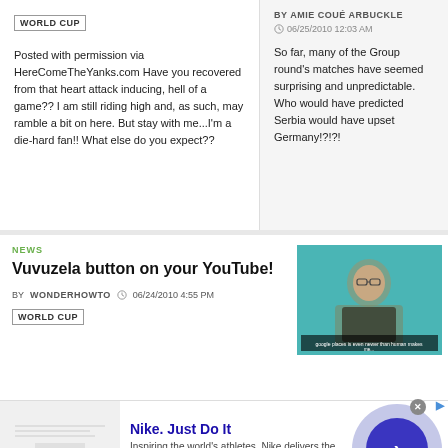WORLD CUP
Posted with permission via HereComeTheYanks.com Have you recovered from that heart attack inducing, hell of a game?? I am still riding high and, as such, may ramble a bit on here. But stay with me...I'm a die-hard fan!! What else do you expect??
BY AMIE COUÉ ARBUCKLE
06/25/2010 12:03 AM
So far, many of the Group round's matches have seemed surprising and unpredictable. Who would have predicted Serbia would have upset Germany!?!?!
NEWS
Vuvuzela button on your YouTube!
BY WONDERHOWTO
06/24/2010 4:55 PM
WORLD CUP
[Figure (screenshot): Video thumbnail showing a man in dark shirt against teal background with subtitle text at bottom]
Nike. Just Do It
Inspiring the world's athletes, Nike delivers the deals
www.nike.com